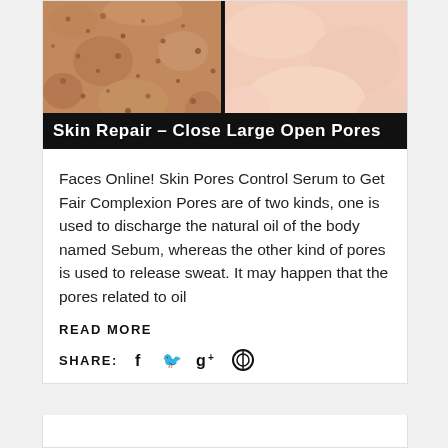[Figure (photo): Before and after comparison photo of skin pores — left side shows enlarged/visible pores on skin, right side shows smooth skin, with black banner overlay reading 'Skin Repair – Close Large Open Pores']
Skin Repair – Close Large Open Pores
Faces Online! Skin Pores Control Serum to Get Fair Complexion Pores are of two kinds, one is used to discharge the natural oil of the body named Sebum, whereas the other kind of pores is used to release sweat. It may happen that the pores related to oil
READ MORE
SHARE:  f  🐦  g+  ⓟ